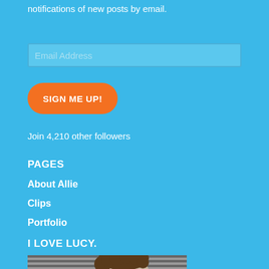notifications of new posts by email.
Email Address
SIGN ME UP!
Join 4,210 other followers
PAGES
About Allie
Clips
Portfolio
I LOVE LUCY.
[Figure (photo): Black and white photo of a woman with curly hair, smiling, in front of horizontal blinds or shutters]